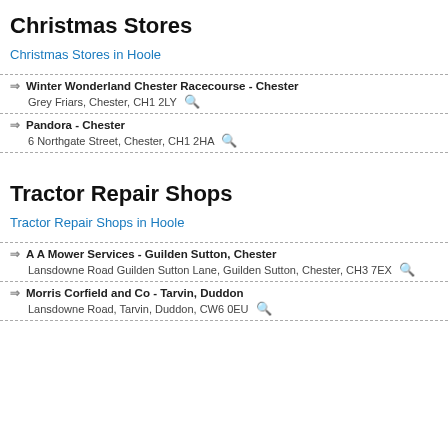Pets at Home - Chester
Melbourne Road, Chester, CH1 4QG
Christmas Stores
Christmas Stores in Hoole
Winter Wonderland Chester Racecourse - Chester
Grey Friars, Chester, CH1 2LY
Pandora - Chester
6 Northgate Street, Chester, CH1 2HA
Tractor Repair Shops
Tractor Repair Shops in Hoole
A A Mower Services - Guilden Sutton, Chester
Lansdowne Road Guilden Sutton Lane, Guilden Sutton, Chester, CH3 7EX
Morris Corfield and Co - Tarvin, Duddon
Lansdowne Road, Tarvin, Duddon, CW6 0EU